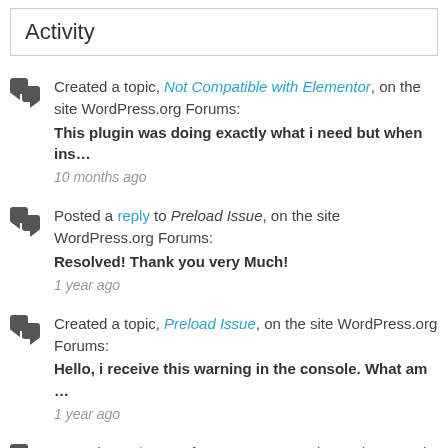Activity
Created a topic, Not Compatible with Elementor, on the site WordPress.org Forums:
This plugin was doing exactly what i need but when ins…
10 months ago
Posted a reply to Preload Issue, on the site WordPress.org Forums:
Resolved! Thank you very Much!
1 year ago
Created a topic, Preload Issue, on the site WordPress.org Forums:
Hello, i receive this warning in the console. What am …
1 year ago
Posted a reply to Refuse to execute script . . . because its MIME type is not executable and stric, on the site WordPress.org Forums: